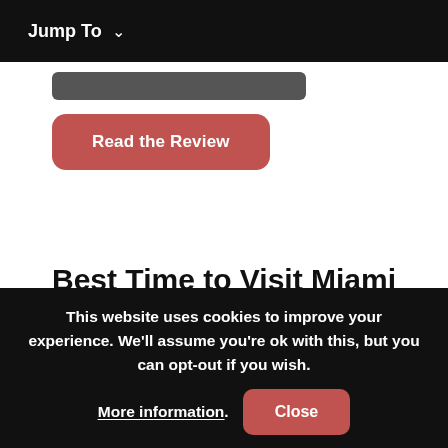Jump To ∨
[Figure (screenshot): A rounded dark grey bar (partially visible UI element)]
Read the Review
Best Time to Visit Miami
If you're from any major American city, ask your grandparents what the weather in Miami is like. Either they
This website uses cookies to improve your experience. We'll assume you're ok with this, but you can opt-out if you wish. More information. Close